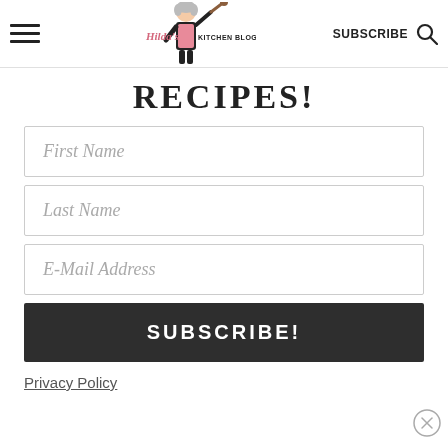[Figure (logo): Hilda's Kitchen Blog logo — cartoon woman in apron holding a wooden spoon, with 'Hilda's Kitchen Blog' text]
RECIPES!
First Name
Last Name
E-Mail Address
SUBSCRIBE!
Privacy Policy